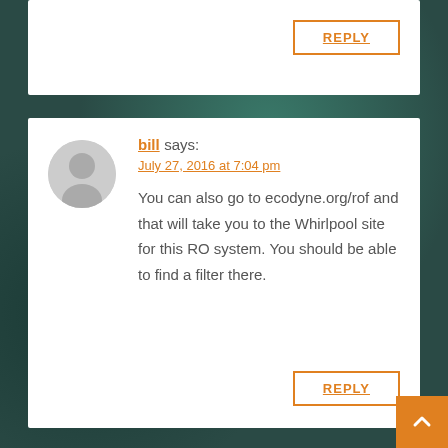REPLY (card 1 reply button)
bill says:
July 27, 2016 at 7:04 pm
You can also go to ecodyne.org/rof and that will take you to the Whirlpool site for this RO system. You should be able to find a filter there.
REPLY (card 2 reply button)
DIYer says:
July 27, 2016 at 7:04 pm